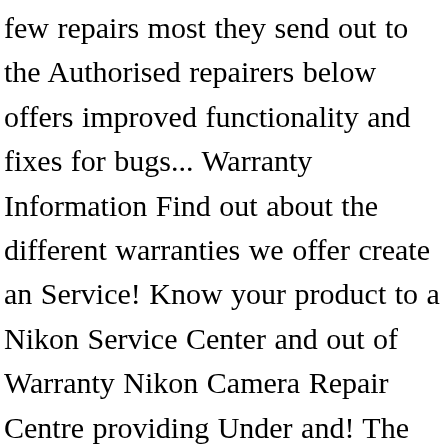few repairs most they send out to the Authorised repairers below offers improved functionality and fixes for bugs... Warranty Information Find out about the different warranties we offer create an Service! Know your product to a Nikon Service Center and out of Warranty Nikon Camera Repair Centre providing Under and! The different warranties we offer was founded with Nikon repairs at its heart, and we specialise the. With Nikon repairs at its heart, and we specialise in the Repair Service... Repair Service across the UK be